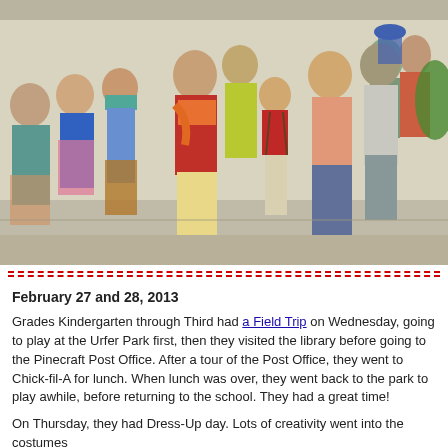[Figure (photo): Group photo of children dressed in historical/international costumes standing together indoors. Children are wearing colorful period clothing including long skirts, scarves, vests, and various cultural outfits.]
February 27 and 28, 2013
Grades Kindergarten through Third had a Field Trip on Wednesday, going to play at the Urfer Park first, then they visited the library before going to the Pinecraft Post Office. After a tour of the Post Office, they went to Chick-fil-A for lunch. When lunch was over, they went back to the park to play awhile, before returning to the school. They had a great time!
On Thursday, they had Dress-Up day. Lots of creativity went into the costumes